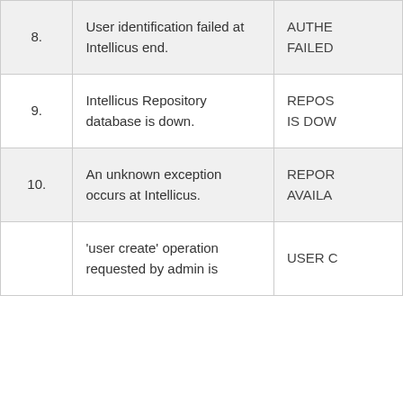| # | Description | Code |
| --- | --- | --- |
| 8. | User identification failed at Intellicus end. | AUTHENTICATION FAILED |
| 9. | Intellicus Repository database is down. | REPOSITORY IS DOWN |
| 10. | An unknown exception occurs at Intellicus. | REPORT NOT AVAILABLE |
|  | 'user create' operation requested by admin is | USER C... |